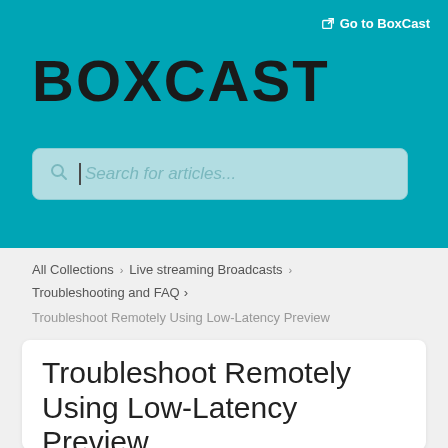Go to BoxCast
BOXCAST
Search for articles...
All Collections > Live streaming Broadcasts > Troubleshooting and FAQ > Troubleshoot Remotely Using Low-Latency Preview
Troubleshoot Remotely Using Low-Latency Preview